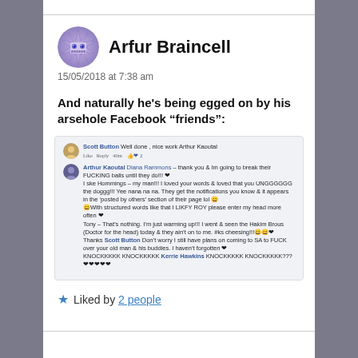[Figure (illustration): Pixel-art robot/alien avatar icon with spiky edges and glowing eyes, used as profile picture for Arfur Braincell]
Arfur Braincell
15/05/2018 at 7:38 am
And naturally he's being egged on by his arsehole Facebook "friends":
[Figure (screenshot): Screenshot of Facebook comments. Scott Button: Well done , nice work Arthur Kaoutal. Like Reply 40m. [reactions: 2]. Arthur Kaoutal Diana Rammons - thank you & Im going to break their FUCKING balls until they do!!! I ske Hommings - my man!! I loved your words & loved that you UNGGGGGG the doggg!!! Yee nana na na. They get the notifications you know & it appears in the 'posted by others' section of their page lol. With structured words like that I LIKFY ROY please enter my head more often. Tony - That's nothing, I'm just warming up!!! I went & seen the Hakim Brous (Doctor for the head) today & they ain't on to me. #ks cheesing!!! Thanks Scott Button. Don't worry I still have plans on coming to SA to FUCK over your old man & his buddies. I haven't forgotten. KNOCKKKKK KNOCKKKKK Kerrie Hawkins KNOCKKKKK KNOCKKKKK???]
Liked by 2 people